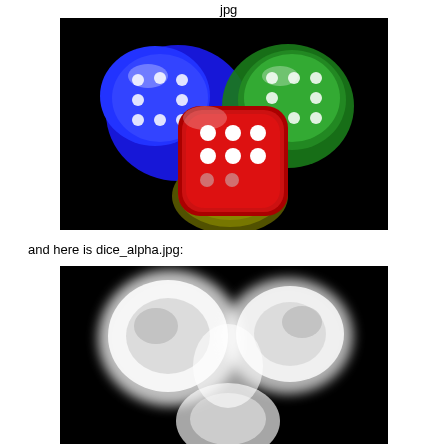jpg
[Figure (photo): Photo of four colorful 3D rendered dice (blue, red, green, yellow-green) tumbling against a black background]
and here is dice_alpha.jpg:
[Figure (photo): Alpha/grayscale version of the dice image showing white silhouettes of the dice against a black background]